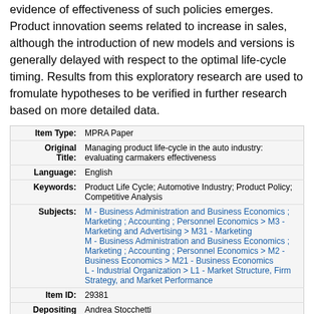evidence of effectiveness of such policies emerges. Product innovation seems related to increase in sales, although the introduction of new models and versions is generally delayed with respect to the optimal life-cycle timing. Results from this exploratory research are used to fromulate hypotheses to be verified in further research based on more detailed data.
| Field | Value |
| --- | --- |
| Item Type: | MPRA Paper |
| Original Title: | Managing product life-cycle in the auto industry: evaluating carmakers effectiveness |
| Language: | English |
| Keywords: | Product Life Cycle; Automotive Industry; Product Policy; Competitive Analysis |
| Subjects: | M - Business Administration and Business Economics ; Marketing ; Accounting ; Personnel Economics > M3 - Marketing and Advertising > M31 - Marketing
M - Business Administration and Business Economics ; Marketing ; Accounting ; Personnel Economics > M2 - Business Economics > M21 - Business Economics
L - Industrial Organization > L1 - Market Structure, Firm Strategy, and Market Performance |
| Item ID: | 29381 |
| Depositing User: | Andrea Stocchetti |
| Date Deposited: | 15 Mar 2011 08:40 |
| Last Modified: | 26 Sep 2019 08:19 |